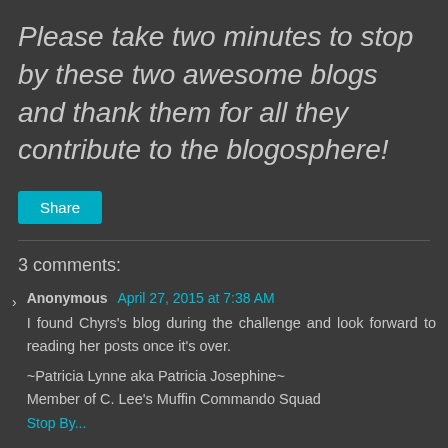Please take two minutes to stop by these two awesome blogs and thank them for all they contribute to the blogosphere!
[Figure (other): Share button - cyan/teal rounded rectangle button with white text 'Share']
3 comments:
Anonymous April 27, 2015 at 7:38 AM
I found Chyrs's blog during the challenge and look forward to reading her posts once it's over.

~Patricia Lynne aka Patricia Josephine~
Member of C. Lee's Muffin Commando Squad